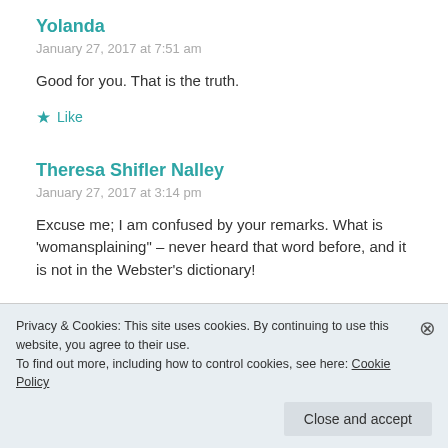Yolanda
January 27, 2017 at 7:51 am
Good for you. That is the truth.
★ Like
Theresa Shifler Nalley
January 27, 2017 at 3:14 pm
Excuse me; I am confused by your remarks. What is 'womansplaining" – never heard that word before, and it is not in the Webster's dictionary!
Privacy & Cookies: This site uses cookies. By continuing to use this website, you agree to their use.
To find out more, including how to control cookies, see here: Cookie Policy
Close and accept